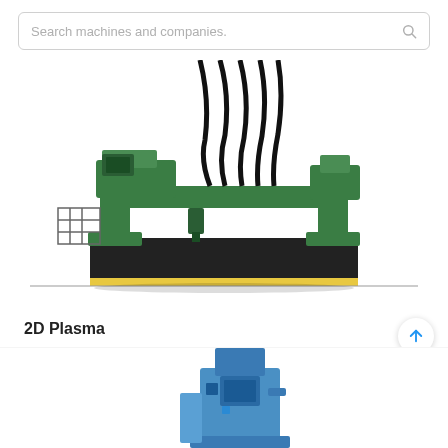Search machines and companies.
[Figure (photo): Industrial 2D plasma cutting machine on a long rail/table, green in color, gantry-style CNC machine with hoses and cables overhead.]
2D Plasma
[Figure (photo): Partial view of another industrial machine (blue/grey) visible at the bottom of the page, partially cropped.]